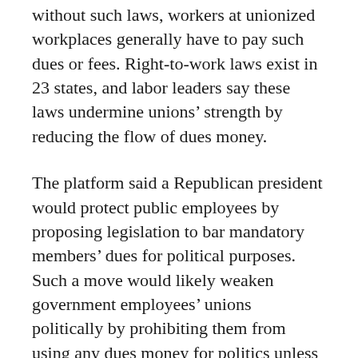without such laws, workers at unionized workplaces generally have to pay such dues or fees. Right-to-work laws exist in 23 states, and labor leaders say these laws undermine unions' strength by reducing the flow of dues money.
The platform said a Republican president would protect public employees by proposing legislation to bar mandatory members' dues for political purposes. Such a move would likely weaken government employees' unions politically by prohibiting them from using any dues money for politics unless the member first gives individual authorization for his dues money to be used for political campaigns or legislative work.